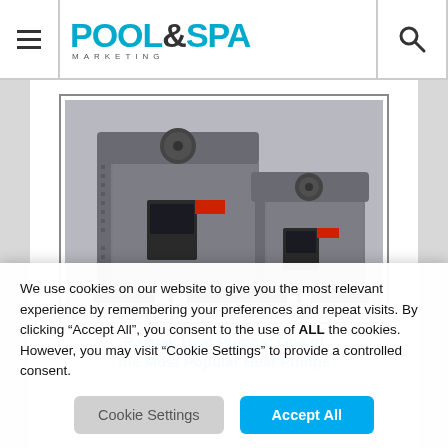POOL & SPA MARKETING
[Figure (photo): Two Raypak heat pump units side by side on white background — one large tall unit and one smaller unit, both grey metal housing with fan tops and plumbing connections at bottom]
Raypak Heat Pumps: One of the Most Popular Heat Pumps
We use cookies on our website to give you the most relevant experience by remembering your preferences and repeat visits. By clicking "Accept All", you consent to the use of ALL the cookies. However, you may visit "Cookie Settings" to provide a controlled consent.